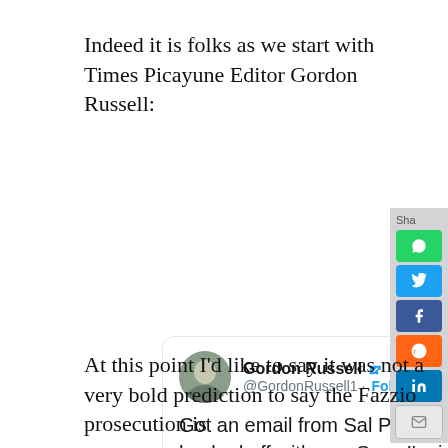Indeed it is folks as we start with Times Picayune Editor Gordon Russell:
[Figure (screenshot): Embedded tweet from @GordonRussell1 (Gordon Russell, verified). Tweet reads: 'Got an email from Sal Perricone. He seems a little hacked off with me. Says I'm in league w/ Fred Heebe, among other things.' Posted at 1:09 AM · Nov 29, 2012. Actions: 1 Like, Reply, Copy link.]
At this point I'd like to say it was not a very bold prediction to say the Fazzio prosecution is